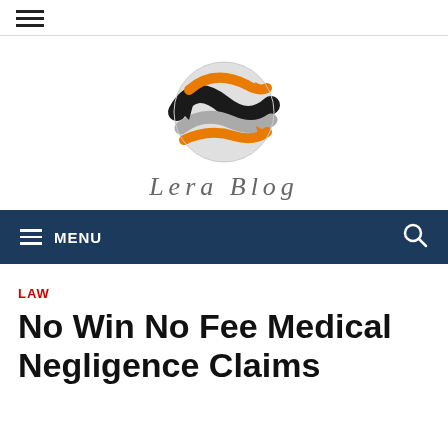☰
[Figure (logo): Lera Blog globe logo with orange and black swooping arrows around a globe, with italic text 'Lera Blog' below]
≡ MENU  🔍
LAW
No Win No Fee Medical Negligence Claims